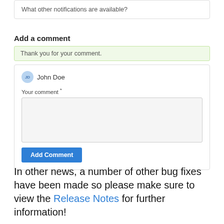What other notifications are available?
Add a comment
Thank you for your comment.
[Figure (screenshot): Comment form with user John Doe, a text area labeled 'Your comment *', and an 'Add Comment' button]
In other news, a number of other bug fixes have been made so please make sure to view the Release Notes for further information!